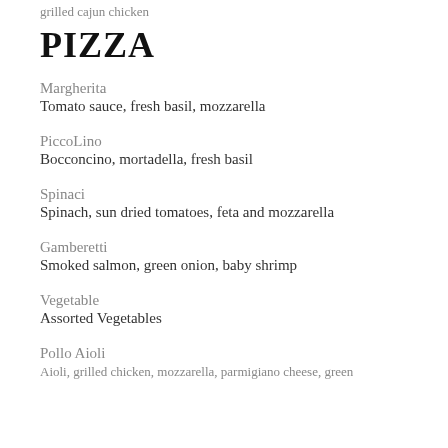grilled cajun chicken
PIZZA
Margherita
Tomato sauce, fresh basil, mozzarella
PiccoLino
Bocconcino, mortadella, fresh basil
Spinaci
Spinach, sun dried tomatoes, feta and mozzarella
Gamberetti
Smoked salmon, green onion, baby shrimp
Vegetable
Assorted Vegetables
Pollo Aioli
Aioli, grilled chicken, mozzarella, parmigiano cheese, green